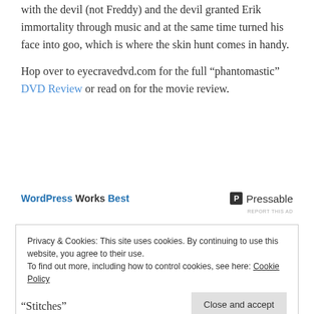with the devil (not Freddy) and the devil granted Erik immortality through music and at the same time turned his face into goo, which is where the skin hunt comes in handy.
Hop over to eyecravedvd.com for the full “phantomastic” DVD Review or read on for the movie review.
[Figure (infographic): WordPress Works Best | Pressable advertisement banner]
REPORT THIS AD
Privacy & Cookies: This site uses cookies. By continuing to use this website, you agree to their use.
To find out more, including how to control cookies, see here: Cookie Policy
Close and accept
“Stitches”